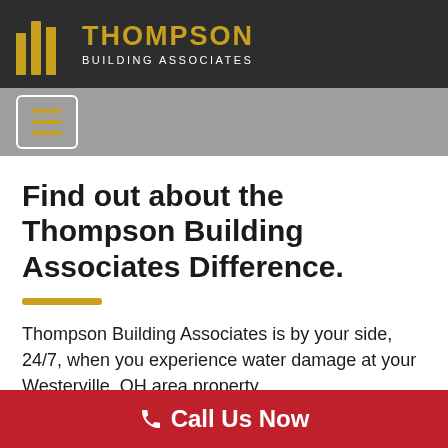THOMPSON BUILDING ASSOCIATES
[Figure (logo): Thompson Building Associates logo with gold vertical bar icon and company name in gold and white on dark background]
Find out about the Thompson Building Associates Difference.
Thompson Building Associates is by your side, 24/7, when you experience water damage at your Westerville, OH area property.
Rapid Response
5-Star Reviews from Happy Customers
Call Us Now